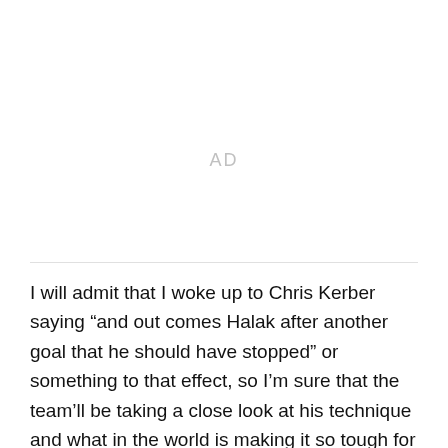[Figure (other): AD placeholder area]
I will admit that I woke up to Chris Kerber saying “and out comes Halak after another goal that he should have stopped” or something to that effect, so I’m sure that the team’ll be taking a close look at his technique and what in the world is making it so tough for him to stop a puck.
Since we’re only six games in (and Halak has four of them), there’s not a huge reason to panic – but there’s